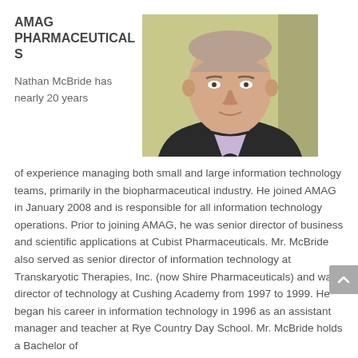AMAG PHARMACEUTICALS
[Figure (photo): Professional headshot of Nathan McBride, a man in a dark suit jacket with a light purple collared shirt, photographed against a light yellow/green background]
Nathan McBride has nearly 20 years of experience managing both small and large information technology teams, primarily in the biopharmaceutical industry. He joined AMAG in January 2008 and is responsible for all information technology operations. Prior to joining AMAG, he was senior director of business and scientific applications at Cubist Pharmaceuticals. Mr. McBride also served as senior director of information technology at Transkaryotic Therapies, Inc. (now Shire Pharmaceuticals) and was director of technology at Cushing Academy from 1997 to 1999. He began his career in information technology in 1996 as an assistant manager and teacher at Rye Country Day School. Mr. McBride holds a Bachelor of